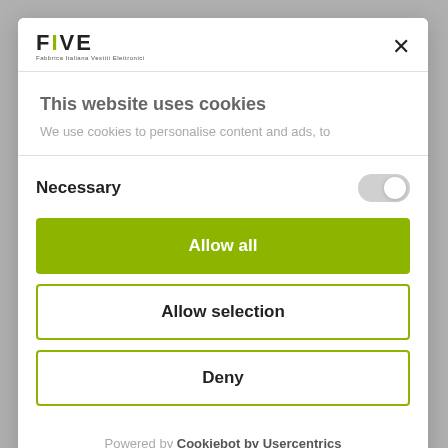[Figure (logo): FIVE brand logo with yellow accent on the letter I/Y and small tagline text below]
This website uses cookies
We use cookies to personalise content and ads, to
Necessary
Allow all
Allow selection
Deny
Powered by Cookiebot by Usercentrics